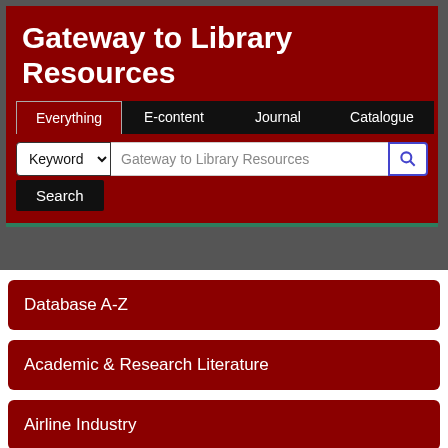Gateway to Library Resources
[Figure (screenshot): Search interface with tabs: Everything (active), E-content, Journal, Catalogue; a keyword dropdown and search input field with placeholder 'Gateway to Library Resources'; a Search button.]
Database A-Z
Academic & Research Literature
Airline Industry
Audio/Video